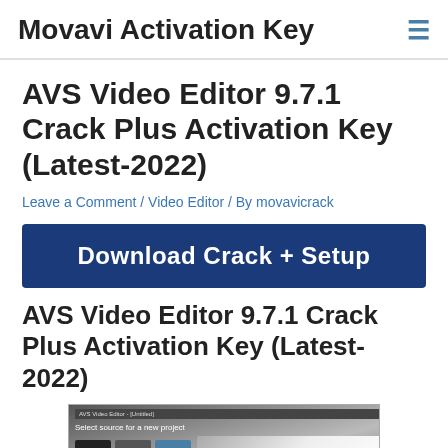Movavi Activation Key
AVS Video Editor 9.7.1 Crack Plus Activation Key (Latest-2022)
Leave a Comment / Video Editor / By movavicrack
[Figure (other): Download Crack + Setup button (dark blue button with white bold text)]
AVS Video Editor 9.7.1 Crack Plus Activation Key (Latest-2022)
[Figure (screenshot): AVS Video Editor screenshot showing 'Select source for a new project' interface with media icons and dark project panel]